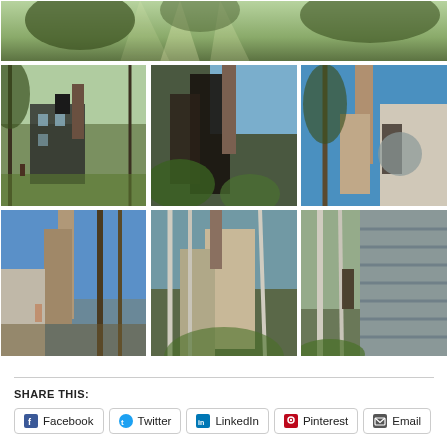[Figure (photo): Grid of 7 photos showing abandoned/ruined buildings with chimneys, overgrown with vegetation, trees, outdoor ruins. Top photo is a wide banner image. Below are 6 photos in 2 rows of 3.]
SHARE THIS:
Facebook
Twitter
LinkedIn
Pinterest
Email